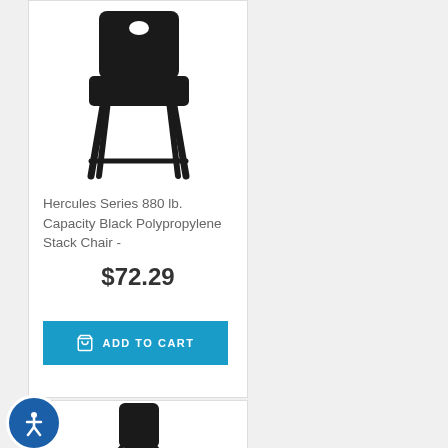[Figure (photo): Black polypropylene stack chair product photo on white background]
Hercules Series 880 lb. Capacity Black Polypropylene Stack Chair -
$72.29
ADD TO CART
[Figure (photo): Black stack chair product photo, partial view at bottom of page]
[Figure (other): Accessibility icon button - blue circle with white wheelchair user symbol]